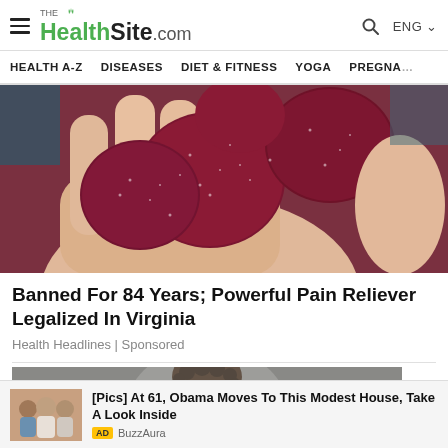THE HealthSite.com | HEALTH A-Z | DISEASES | DIET & FITNESS | YOGA | PREGNA...
[Figure (photo): Photo of a hand holding dark red sugar-coated gummy candies]
Banned For 84 Years; Powerful Pain Reliever Legalized In Virginia
Health Headlines | Sponsored
[Figure (photo): Partial photo of a person with curly hair, partially visible at bottom]
[Figure (photo): Advertisement photo showing group of people including Obama]
[Pics] At 61, Obama Moves To This Modest House, Take A Look Inside
AD BuzzAura